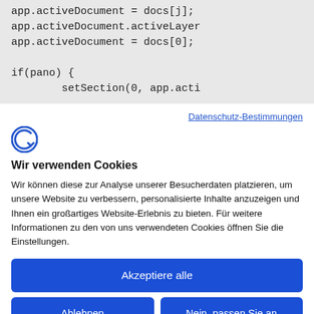[Figure (screenshot): Code snippet showing JavaScript code: app.activeDocument = docs[j]; app.activeDocument.activeLayer ... app.activeDocument = docs[0]; if(pano) { setSection(0, app.acti]
Datenschutz-Bestimmungen
[Figure (logo): Cookiebot logo - stylized C with arrow]
Wir verwenden Cookies
Wir können diese zur Analyse unserer Besucherdaten platzieren, um unsere Website zu verbessern, personalisierte Inhalte anzuzeigen und Ihnen ein großartiges Website-Erlebnis zu bieten. Für weitere Informationen zu den von uns verwendeten Cookies öffnen Sie die Einstellungen.
Akzeptiere alle
Ablehnen
Nein, passen Sie an